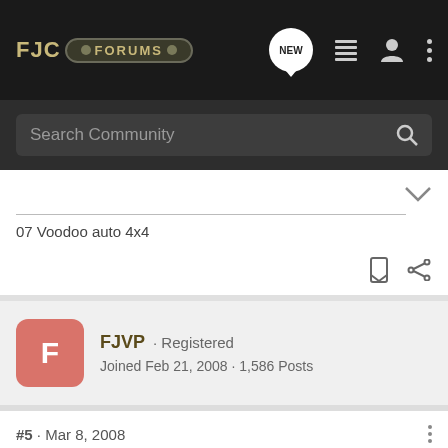FJC FORUMS
Search Community
07 Voodoo auto 4x4
FJVP · Registered
Joined Feb 21, 2008 · 1,586 Posts
#5 · Mar 8, 2008
Kokoneli